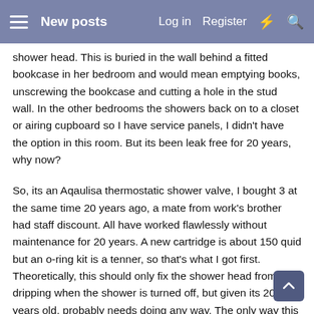New posts | Log in | Register
shower head. This is buried in the wall behind a fitted bookcase in her bedroom and would mean emptying books, unscrewing the bookcase and cutting a hole in the stud wall. In the other bedrooms the showers back on to a closet or airing cupboard so I have service panels, I didn't have the option in this room. But its been leak free for 20 years, why now?
So, its an Aqaulisa thermostatic shower valve, I bought 3 at the same time 20 years ago, a mate from work's brother had staff discount. All have worked flawlessly without maintenance for 20 years. A new cartridge is about 150 quid but an o-ring kit is a tenner, so that's what I got first. Theoretically, this should only fix the shower head from dripping when the shower is turned off, but given its 20 years old, probably needs doing any way. The only way this could stop the problem of the leak into the kitchen is if it leaked through the front of the unit and dribbled back and down into the partition, but there is no sign of that. Anyway,